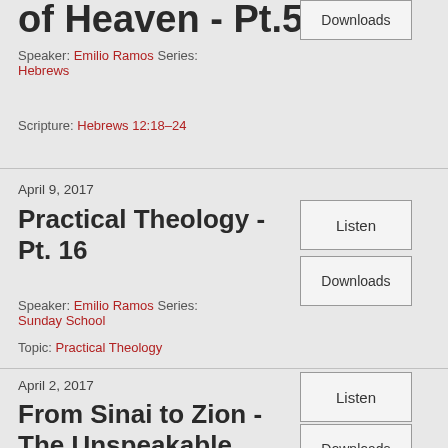of Heaven - Pt.5
Speaker: Emilio Ramos Series: Hebrews
Scripture: Hebrews 12:18–24
Downloads
April 9, 2017
Practical Theology - Pt. 16
Speaker: Emilio Ramos Series: Sunday School
Topic: Practical Theology
Listen
Downloads
April 2, 2017
From Sinai to Zion - The Unspeakable Blessings of Zion - Pt. 2
Listen
Downloads